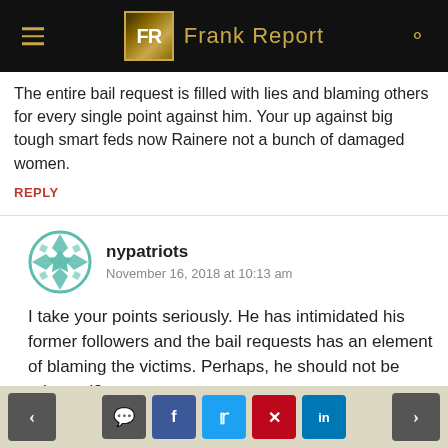Frank Report
The entire bail request is filled with lies and blaming others for every single point against him. Your up against big tough smart feds now Rainere not a bunch of damaged women.
REPLY
nypatriots
November 16, 2018 at 10:13 am
I take your points seriously. He has intimidated his former followers and the bail requests has an element of blaming the victims. Perhaps, he should not be released?